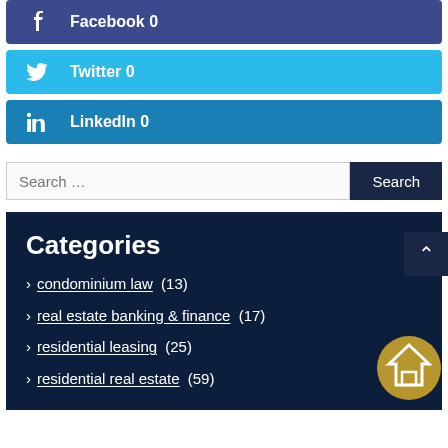Facebook 0
Twitter 0
LinkedIn 0
Search ...
Categories
condominium law (13)
real estate banking & finance (17)
residential leasing (25)
residential real estate (59)